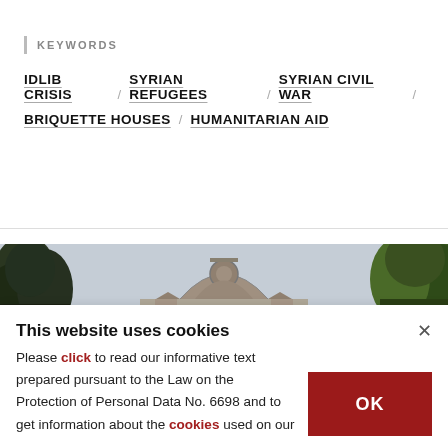KEYWORDS
IDLIB CRISIS / SYRIAN REFUGEES / SYRIAN CIVIL WAR /
BRIQUETTE HOUSES / HUMANITARIAN AID
[Figure (photo): Photograph of a historic building with ornate stonework arch/gatehouse, flanked by trees on either side, against an overcast sky.]
This website uses cookies

Please click to read our informative text prepared pursuant to the Law on the Protection of Personal Data No. 6698 and to get information about the cookies used on our